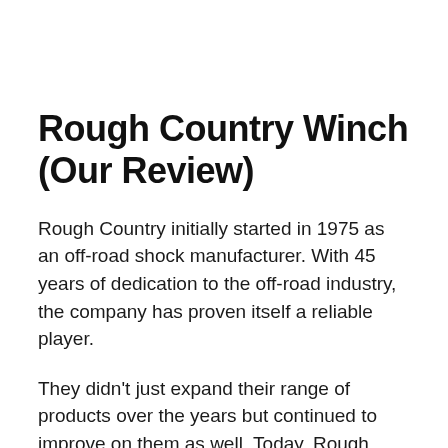Rough Country Winch (Our Review)
Rough Country initially started in 1975 as an off-road shock manufacturer. With 45 years of dedication to the off-road industry, the company has proven itself a reliable player.
They didn't just expand their range of products over the years but continued to improve on them as well. Today, Rough Country is one of the top suppliers of quality off-road...